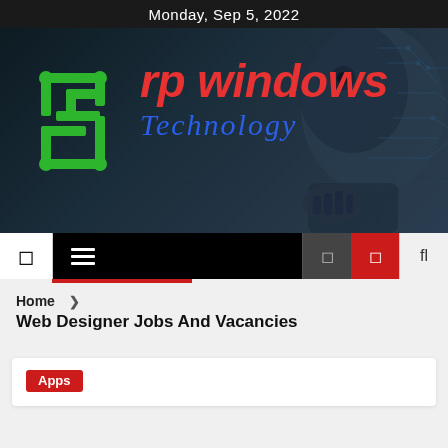Monday, Sep 5, 2022
[Figure (logo): rp windows Technology logo with green circuit-board icon and robot AI background. Red italic 'rp windows' text and blue italic 'Technology' text.]
[Figure (screenshot): Navigation bar with white panel icon, hamburger menu, dark background, red icon button, and search/filter icons]
Home ❯ Web Designer Jobs And Vacancies
Web Designer Jobs And Vacancies
Apps